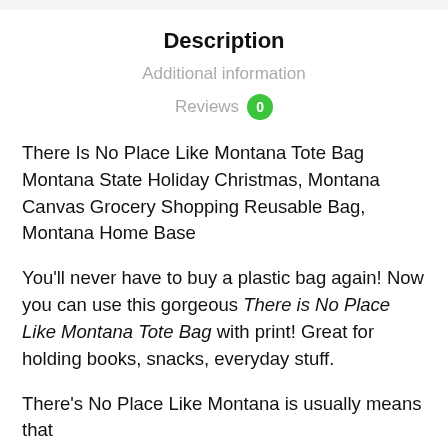Description
Additional information
Reviews 0
There Is No Place Like Montana Tote Bag Montana State Holiday Christmas, Montana Canvas Grocery Shopping Reusable Bag, Montana Home Base
You'll never have to buy a plastic bag again! Now you can use this gorgeous There is No Place Like Montana Tote Bag with print! Great for holding books, snacks, everyday stuff.
There's No Place Like Montana is usually means that